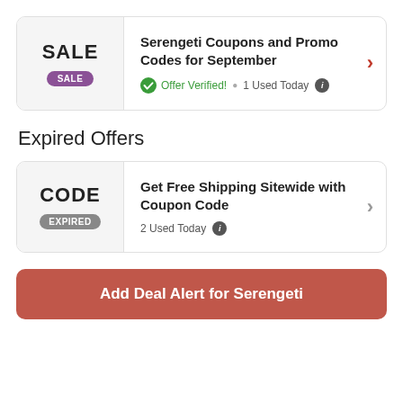[Figure (infographic): Coupon card with SALE badge and text: 'Serengeti Coupons and Promo Codes for September', Offer Verified! • 1 Used Today]
Expired Offers
[Figure (infographic): Coupon card with CODE/EXPIRED badge and text: 'Get Free Shipping Sitewide with Coupon Code', 2 Used Today]
Add Deal Alert for Serengeti